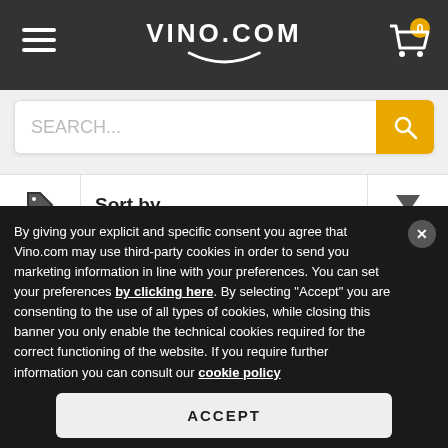VINO.COM
SEARCH...
Sort by...
Italy, Apulia
Grilled red meat, Aged cheeses
7.10 €
DISCOUNT 10%
By giving your explicit and specific consent you agree that Vino.com may use third-party cookies in order to send you marketing information in line with your preferences. You can set your preferences by clicking here. By selecting "Accept" you are consenting to the use of all types of cookies, while closing this banner you only enable the technical cookies required for the correct functioning of the website. If you require further information you can consult our cookie policy
ACCEPT